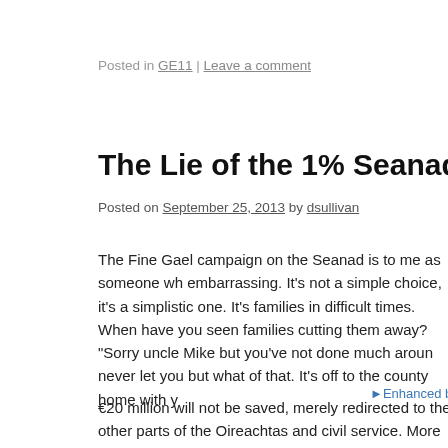Posted in GE11 | Leave a comment
The Lie of the 1% Seanad
Posted on September 25, 2013 by dsullivan
The Fine Gael campaign on the Seanad is to me as someone wh embarrassing. It’s not a simple choice, it’s a simplistic one. It’s families in difficult times. When have you seen families cutting them away? “Sorry uncle Mike but you’ve not done much aroun never let you but what of that. It’s off to the county home with y
[Figure (other): Enhanced by Zemanta badge/image]
€20 million will not be saved, merely redirected to the other parts of the Oireachtas and civil service. More likely it safeguards funds for a 25% increase in the running costs of the Dail whether in salaries or expenses than anything else.